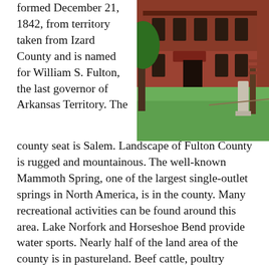formed December 21, 1842, from territory taken from Izard County and is named for William S. Fulton, the last governor of Arkansas Territory. The
[Figure (photo): Photo of Fulton County courthouse, a red brick two-story building with green lawn and a stone monument in front, trees surrounding]
county seat is Salem. Landscape of Fulton County is rugged and mountainous. The well-known Mammoth Spring, one of the largest single-outlet springs in North America, is in the county. Many recreational activities can be found around this area. Lake Norfork and Horseshoe Bend provide water sports. Nearly half of the land area of the county is in pastureland. Beef cattle, poultry farming, and feed production are leading agricultural activities. The Fulton County courthouse, built in 1890, was restored in 1973 and has become a